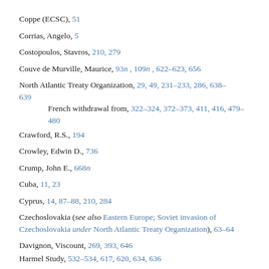Coppe (ECSC), 51
Corrias, Angelo, 5
Costopoulos, Stavros, 210, 279
Couve de Murville, Maurice, 93n, 109n, 622–623, 656
North Atlantic Treaty Organization, 29, 49, 231–233, 286, 638–639
French withdrawal from, 322–324, 372–373, 411, 416, 479–480
Crawford, R.S., 194
Crowley, Edwin D., 736
Crump, John E., 668n
Cuba, 11, 23
Cyprus, 14, 87–88, 210, 284
Czechoslovakia (see also Eastern Europe; Soviet invasion of Czechoslovakia under North Atlantic Treaty Organization), 63–64
Davignon, Viscount, 269, 393, 646
Harmel Study, 532–534, 617, 620, 634, 636